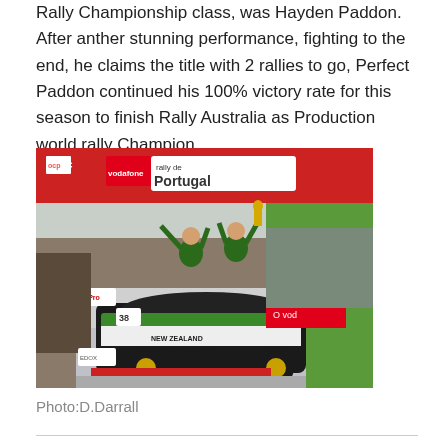Rally Championship class, was Hayden Paddon. After anther stunning performance, fighting to the end, he claims the title with 2 rallies to go, Perfect Paddon continued his 100% victory rate for this season to finish Rally Australia as Production world rally Champion.
[Figure (photo): Hayden Paddon celebrating victory on top of a Subaru WRC car at Rally de Portugal, with the WRC podium gantry visible and a crowd in the background. Vodafone and WRC sponsor banners visible.]
Photo:D.Darrall